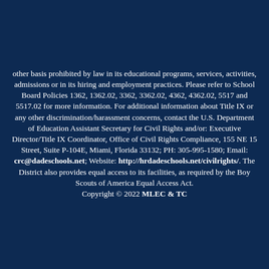other basis prohibited by law in its educational programs, services, activities, admissions or in its hiring and employment practices. Please refer to School Board Policies 1362, 1362.02, 3362, 3362.02, 4362, 4362.02, 5517 and 5517.02 for more information. For additional information about Title IX or any other discrimination/harassment concerns, contact the U.S. Department of Education Assistant Secretary for Civil Rights and/or: Executive Director/Title IX Coordinator, Office of Civil Rights Compliance, 155 NE 15 Street, Suite P-104E, Miami, Florida 33132; PH: 305-995-1580; Email: crc@dadeschools.net; Website: http://hrdadeschools.net/civilrights/. The District also provides equal access to its facilities, as required by the Boy Scouts of America Equal Access Act. Copyright © 2022 MLEC & TC